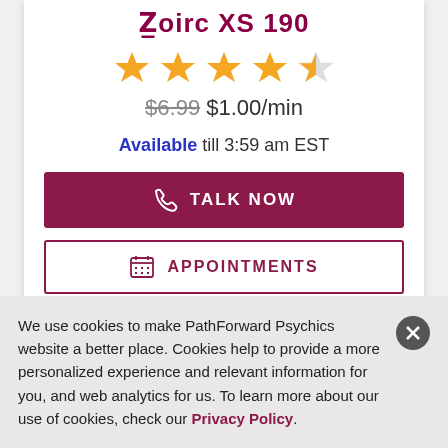Zoirc XS 190
[Figure (other): 4 full orange stars and 1 half orange/empty star rating]
$6.99 $1.00/min
Available till 3:59 am EST
TALK NOW
APPOINTMENTS
We use cookies to make PathForward Psychics website a better place. Cookies help to provide a more personalized experience and relevant information for you, and web analytics for us. To learn more about our use of cookies, check our Privacy Policy.